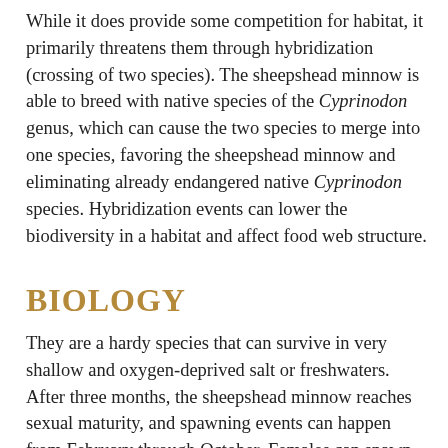While it does provide some competition for habitat, it primarily threatens them through hybridization (crossing of two species). The sheepshead minnow is able to breed with native species of the Cyprinodon genus, which can cause the two species to merge into one species, favoring the sheepshead minnow and eliminating already endangered native Cyprinodon species. Hybridization events can lower the biodiversity in a habitat and affect food web structure.
BIOLOGY
They are a hardy species that can survive in very shallow and oxygen-deprived salt or freshwaters. After three months, the sheepshead minnow reaches sexual maturity, and spawning events can happen from February through October. Females can spawn numerous times during the